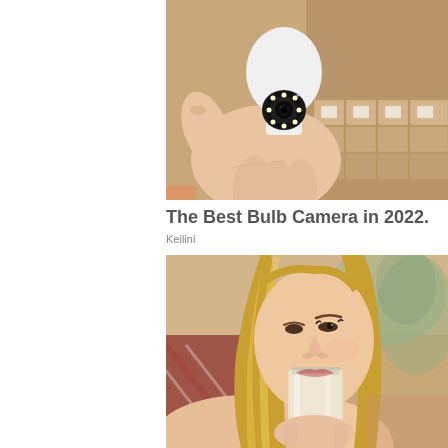[Figure (photo): A hand holding a white bulb-shaped security camera with a circular lens module containing multiple LEDs, against a background of cardboard boxes.]
The Best Bulb Camera in 2022.
Keilini
[Figure (photo): A woman with long blonde hair drinking from a clear glass jar, photographed in a warm indoor/outdoor setting.]